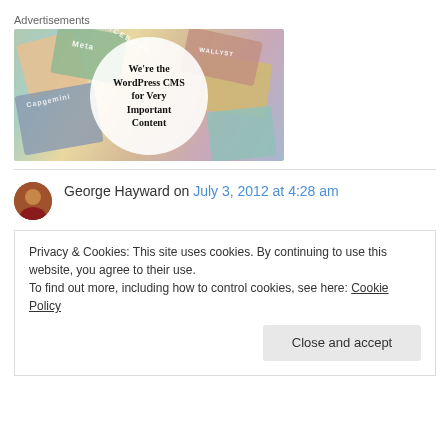Advertisements
[Figure (illustration): Advertisement banner image showing colorful overlapping cards/tiles with brand names like Meta, Facebook, Capgemini, and a central white circle with bold serif text reading 'We're the WordPress CMS for Very Important Content']
George Hayward on July 3, 2012 at 4:28 am
Privacy & Cookies: This site uses cookies. By continuing to use this website, you agree to their use.
To find out more, including how to control cookies, see here: Cookie Policy
Close and accept